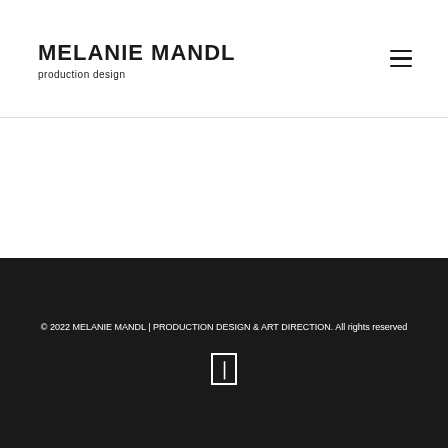MELANIE MANDL production design
© 2022 MELANIE MANDL | PRODUCTION DESIGN & ART DIRECTION. All rights reserved